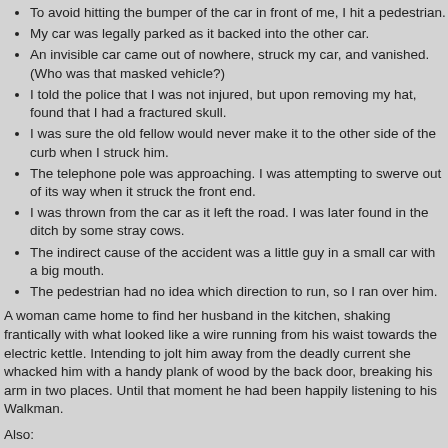To avoid hitting the bumper of the car in front of me, I hit a pedestrian.
My car was legally parked as it backed into the other car.
An invisible car came out of nowhere, struck my car, and vanished. (Who was that masked vehicle?)
I told the police that I was not injured, but upon removing my hat, found that I had a fractured skull.
I was sure the old fellow would never make it to the other side of the curb when I struck him.
The telephone pole was approaching. I was attempting to swerve out of its way when it struck the front end.
I was thrown from the car as it left the road. I was later found in the ditch by some stray cows.
The indirect cause of the accident was a little guy in a small car with a big mouth.
The pedestrian had no idea which direction to run, so I ran over him.
A woman came home to find her husband in the kitchen, shaking frantically with what looked like a wire running from his waist towards the electric kettle. Intending to jolt him away from the deadly current she whacked him with a handy plank of wood by the back door, breaking his arm in two places. Until that moment he had been happily listening to his Walkman.
Also:
Workmans Comp